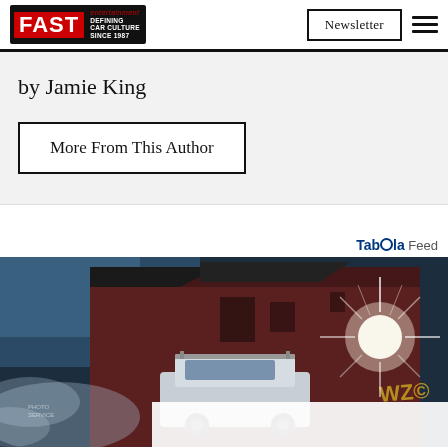FAST entertainment — Defining Car Culture Since 1987 | Newsletter
by Jamie King
More From This Author
Taboola Feed
[Figure (photo): A car parked near a dark red brick building at night, with a bright starburst light on the right side and graffiti on the wall. Smoke or mist is visible near the lower left. A white overlay box appears at the bottom center of the image.]